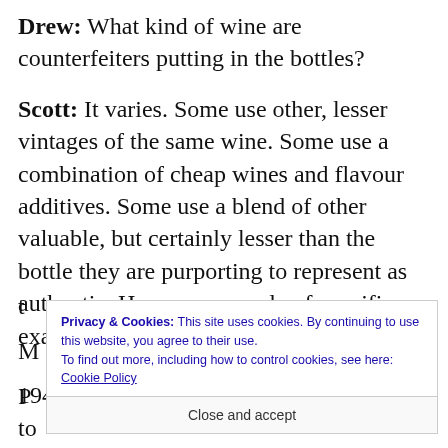Drew: What kind of wine are counterfeiters putting in the bottles?
Scott: It varies. Some use other, lesser vintages of the same wine. Some use a combination of cheap wines and flavour additives. Some use a blend of other valuable, but certainly lesser than the bottle they are purporting to represent as authentic. Here are a couple of specific examples t... M... P...
Privacy & Cookies: This site uses cookies. By continuing to use this website, you agree to their use. To find out more, including how to control cookies, see here: Cookie Policy
Close and accept
1940's/50's Pomerol. One important point to